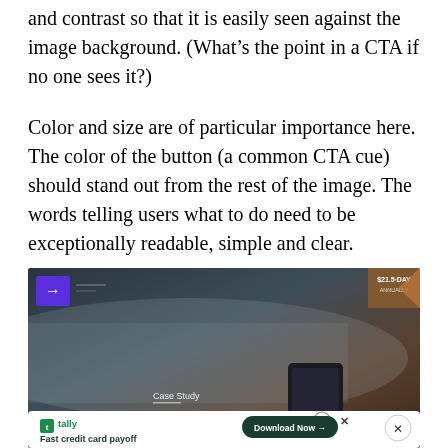and contrast so that it is easily seen against the image background. (What's the point in a CTA if no one sees it?)
Color and size are of particular importance here. The color of the button (a common CTA cue) should stand out from the rest of the image. The words telling users what to do need to be exceptionally readable, simple and clear.
[Figure (screenshot): Screenshot of a website with a dark, moody background image of a surface with a smartphone. A purple square icon with a deer/arrow logo appears top left. In the bottom portion, a white advertisement bar for 'Tally - Fast credit card payoff' with a 'Download Now' button in dark teal/green with an arrow. A close (X) button appears at the right of the ad. A corner badge in the top right shows partial text.]